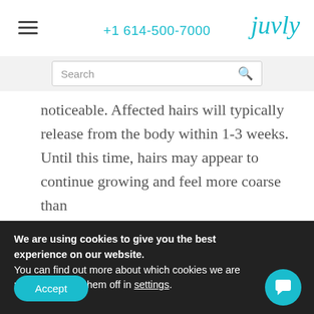+1 614-500-7000 | juvly
[Figure (screenshot): Search bar input field with magnifying glass icon on grey background]
noticeable. Affected hairs will typically release from the body within 1-3 weeks. Until this time, hairs may appear to continue growing and feel more coarse than
We are using cookies to give you the best experience on our website.
You can find out more about which cookies we are using or switch them off in settings.
Accept